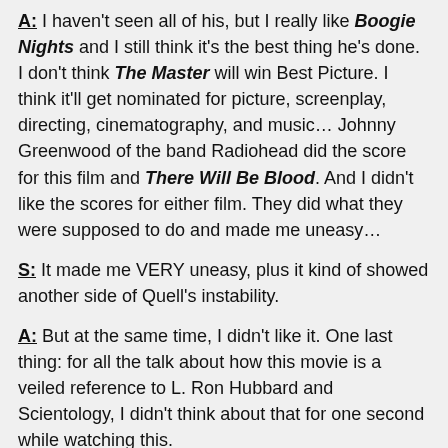A: I haven't seen all of his, but I really like Boogie Nights and I still think it's the best thing he's done. I don't think The Master will win Best Picture. I think it'll get nominated for picture, screenplay, directing, cinematography, and music… Johnny Greenwood of the band Radiohead did the score for this film and There Will Be Blood. And I didn't like the scores for either film. They did what they were supposed to do and made me uneasy…
S: It made me VERY uneasy, plus it kind of showed another side of Quell's instability.
A: But at the same time, I didn't like it. One last thing: for all the talk about how this movie is a veiled reference to L. Ron Hubbard and Scientology, I didn't think about that for one second while watching this.
S: Same here! Ok, so what are our final thoughts? Purely based on the proficiency of the movie, I'll give it a higher mark than I thought I would, especially thanks to the acting.
A: Not one we'll own someday, I'm glad we saw it in the theater, but does not join it high on our list on the…